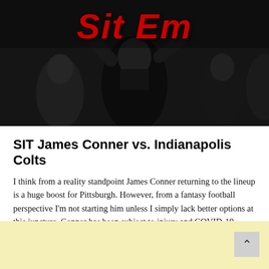[Figure (photo): Black and white photo of football players on field with large bold red italic text 'Sit Em' overlaid at top]
SIT James Conner vs. Indianapolis Colts
I think from a reality standpoint James Conner returning to the lineup is a huge boost for Pittsburgh. However, from a fantasy football perspective I'm not starting him unless I simply lack better options at this juncture. Conner has been subject to injury and COVID-19 during the season and the Steelers' offensive line hasn't exactly been moving defenders off the ball. The Steelers have been pass happy to a fault and the spectre of Benny Snell is always a threat to vulture goal-line touches. Not to mention the Colts have a quality defense.... Sit em.
[Figure (other): Light yellow footer bar with scroll-up button on the right]